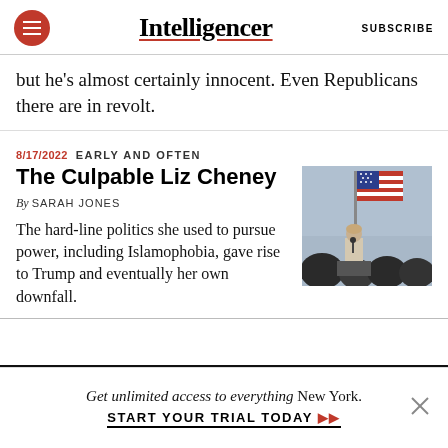Intelligencer
but he's almost certainly innocent. Even Republicans there are in revolt.
8/17/2022  EARLY AND OFTEN
The Culpable Liz Cheney
By SARAH JONES
The hard-line politics she used to pursue power, including Islamophobia, gave rise to Trump and eventually her own downfall.
[Figure (photo): Photo of Liz Cheney speaking at a podium with an American flag in the background]
Get unlimited access to everything New York.
START YOUR TRIAL TODAY